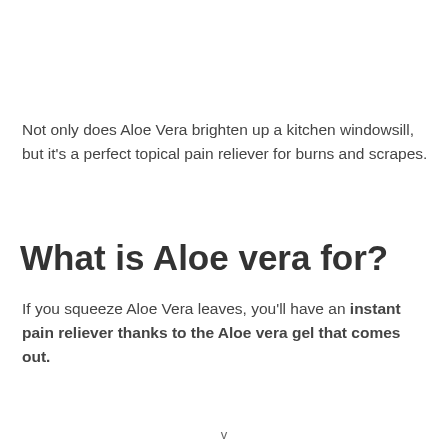Not only does Aloe Vera brighten up a kitchen windowsill, but it's a perfect topical pain reliever for burns and scrapes.
What is Aloe vera for?
If you squeeze Aloe Vera leaves, you'll have an instant pain reliever thanks to the Aloe vera gel that comes out.
v